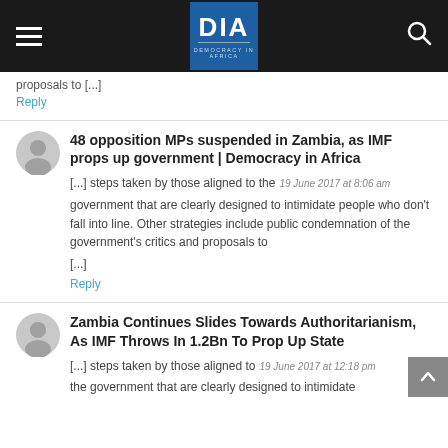DIA Democracy in Africa
proposals to [...]
Reply
48 opposition MPs suspended in Zambia, as IMF props up government | Democracy in Africa
19 June 2017 at 8:06 am
[...] steps taken by those aligned to the government that are clearly designed to intimidate people who don't fall into line. Other strategies include public condemnation of the government's critics and proposals to [...]
Reply
Zambia Continues Slides Towards Authoritarianism, As IMF Throws In 1.2Bn To Prop Up State
19 June 2017 at 12:18 pm
[...] steps taken by those aligned to the government that are clearly designed to intimidate